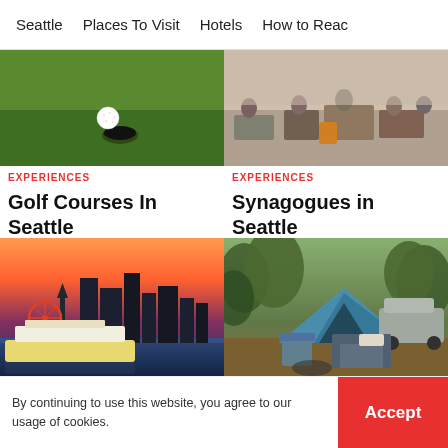Seattle   Places To Visit   Hotels   How to Reac
[Figure (photo): Golf ball near hole on green grass golf course]
EXPERIENCES
Golf Courses In Seattle
[Figure (photo): Outdoor market or street scene with people]
EXPERIENCES
Synagogues in Seattle
[Figure (photo): Seattle skyline at sunset with ferry boat on water]
BACKPACKING
Weekend Getaways from Seattle
[Figure (photo): Camping scene with blue tent, chairs, and couch in forest]
ADVENTURE
Camping in Seattle
By continuing to use this website, you agree to our usage of cookies.
Accept